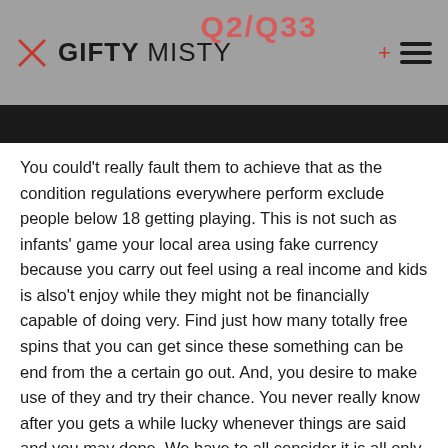GIFTY MISTY
You could't really fault them to achieve that as the condition regulations everywhere perform exclude people below 18 getting playing. This is not such as infants' game your local area using fake currency because you carry out feel using a real income and kids is also't enjoy while they might not be financially capable of doing very. Find just how many totally free spins that you can get since these something can be end from the a certain go out. And, you desire to make use of they and try their chance. You never really know after you gets a while lucky whenever things are said and you may done. We have to all consider it is all only a game title and you don't need discover uptight regarding the one thing generally there is definitely a fifty percent likelihood of profitable.
Check in an account with our team now and discovered 20 freespins for the Guide away from Deceased without the need for a